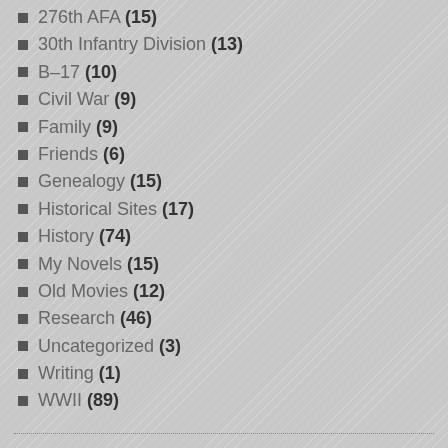276th AFA (15)
30th Infantry Division (13)
B–17 (10)
Civil War (9)
Family (9)
Friends (6)
Genealogy (15)
Historical Sites (17)
History (74)
My Novels (15)
Old Movies (12)
Research (46)
Uncategorized (3)
Writing (1)
WWII (89)
TAGS
2nd Armored Division 4th Armored Division 8th Air Force 30th Division 30th Infantry Division 17th…